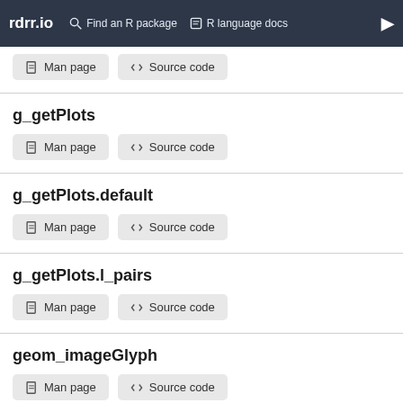rdrr.io  Find an R package  R language docs
g_getPlots
Man page  Source code
g_getPlots.default
Man page  Source code
g_getPlots.l_pairs
Man page  Source code
geom_imageGlyph
Man page  Source code